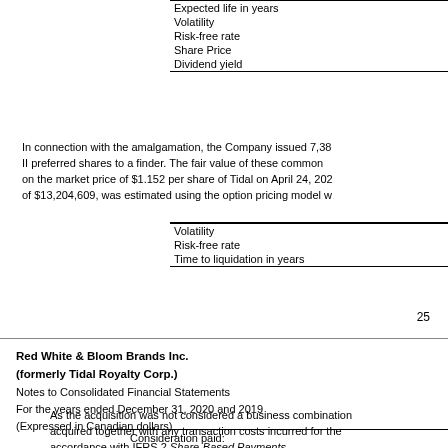| Expected life in years |
| Volatility |
| Risk-free rate |
| Share Price |
| Dividend yield |
In connection with the amalgamation, the Company issued 7,38... II preferred shares to a finder. The fair value of these common... on the market price of $1.152 per share of Tidal on April 24, 202... of $13,204,609, was estimated using the option pricing model w...
| Volatility |
| Risk-free rate |
| Time to liquidation in years |
25
Red White & Bloom Brands Inc.
(formerly Tidal Royalty Corp.)
Notes to Consolidated Financial Statements
For the years ended December 31, 2020 and 2019
(Expressed in Canadian dollars)
As the acquisition was not considered a business combination, acquired together with any transaction costs incurred for the accordance with IFRS 2 Share-Based Payments.
Consideration paid: